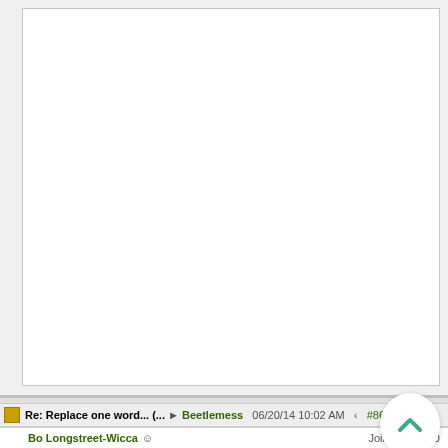[Figure (screenshot): Large white content area of a forum post, mostly blank/empty white box representing the body of a forum message]
[Figure (other): Circular scroll-to-top button with teal/green chevron up arrow icon]
Re: Replace one word... (... Beetlemess 06/20/14 10:02 AM #8676
Bo Longstreet-Wicca Joined: Jun 20